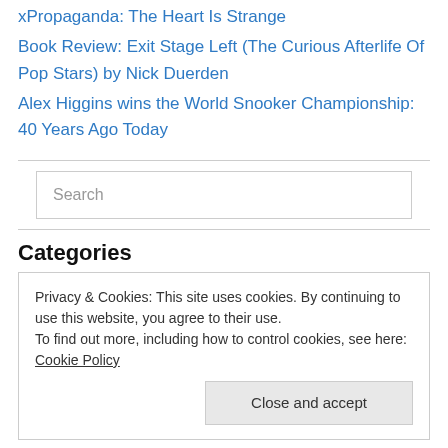xPropaganda: The Heart Is Strange
Book Review: Exit Stage Left (The Curious Afterlife Of Pop Stars) by Nick Duerden
Alex Higgins wins the World Snooker Championship: 40 Years Ago Today
Categories
Privacy & Cookies: This site uses cookies. By continuing to use this website, you agree to their use. To find out more, including how to control cookies, see here: Cookie Policy
1986